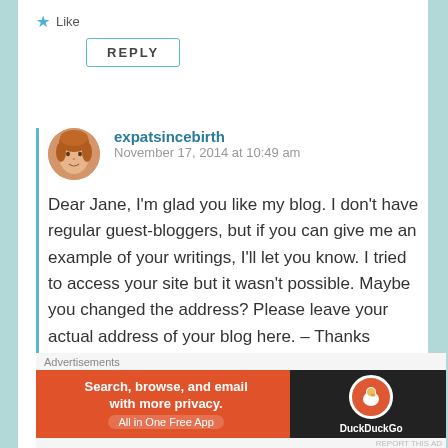★ Like
REPLY
[Figure (photo): Avatar photo of expatsincebirth commenter — woman with auburn hair]
expatsincebirth
November 17, 2014 at 10:49 am
Dear Jane, I'm glad you like my blog. I don't have regular guest-bloggers, but if you can give me an example of your writings, I'll let you know. I tried to access your site but it wasn't possible. Maybe you changed the address? Please leave your actual address of your blog here. – Thanks
Advertisements
[Figure (screenshot): DuckDuckGo advertisement banner: orange and dark background with text 'Search, browse, and email with more privacy. All in One Free App' and DuckDuckGo logo on right]